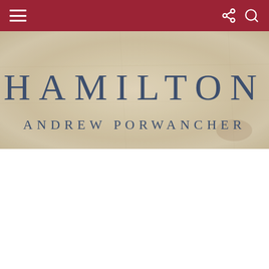[Figure (illustration): Book cover image with parchment/aged paper texture background. Large serif text reads 'HAMILTON' and below it 'ANDREW PORWANCHER', both in dark navy/steel blue color on a beige aged-paper background.]